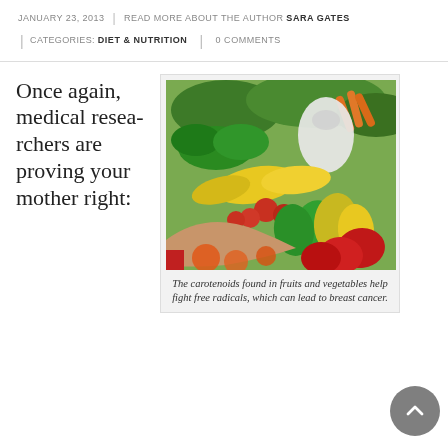JANUARY 23, 2013 | READ MORE ABOUT THE AUTHOR SARA GATES | CATEGORIES: DIET & NUTRITION | 0 COMMENTS
Once again, medical researchers are proving your mother right:
[Figure (photo): Close-up photo of a colorful outdoor produce market stand showing various vegetables and fruits including yellow squash, bell peppers (green, yellow, red), tomatoes, leafy greens, carrots, and a person's hands reaching into the display. A white plastic bag is visible.]
The carotenoids found in fruits and vegetables help fight free radicals, which can lead to breast cancer.